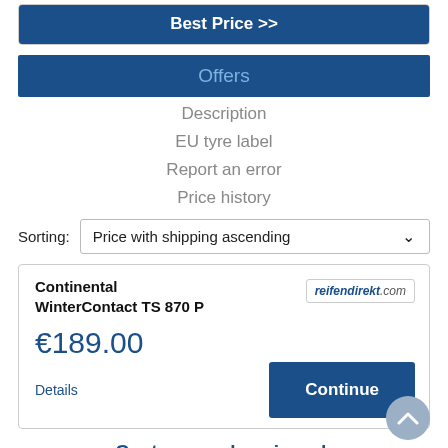Best Price >>
Offers
Description
EU tyre label
Report an error
Price history
Sorting: Price with shipping ascending
Continental WinterContact TS 870 P
€189.00
Details
reifendirekt.com
Continue
Customers also viewed: